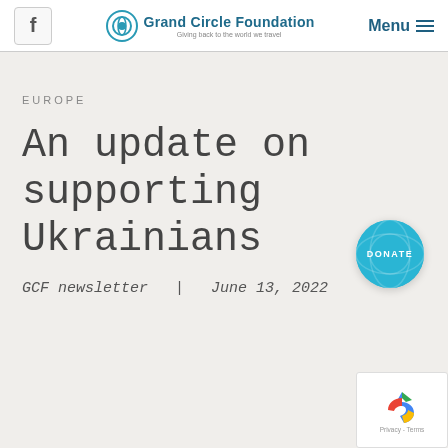f | Grand Circle Foundation - Giving back to the world we travel | Menu
EUROPE
An update on supporting Ukrainians
GCF newsletter  |  June 13, 2022
[Figure (other): Blue circular Donate button with globe pattern]
[Figure (other): Google reCAPTCHA widget box with arrow logo and Privacy - Terms text]